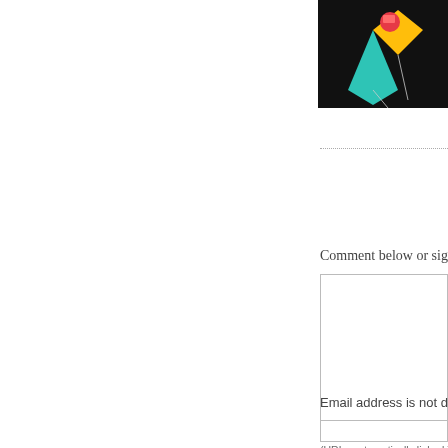[Figure (photo): Photo of colorful kite/balloon shapes (teal, yellow, red) on a black background, partially visible in top-right corner]
Comment below or sign
[Figure (other): Text input textarea box for comment]
(URLs automatically linked.)
Email address is not displayed